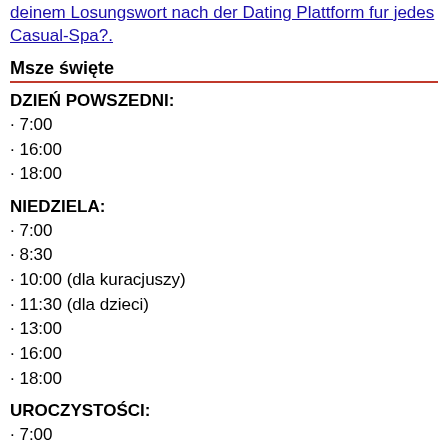deinem Losungswort nach der Dating Plattform fur jedes Casual-Spa?.
Msze święte
DZIEŃ POWSZEDNI:
· 7:00
· 16:00
· 18:00
NIEDZIELA:
· 7:00
· 8:30
· 10:00 (dla kuracjuszy)
· 11:30 (dla dzieci)
· 13:00
· 16:00
· 18:00
UROCZYSTOŚCI:
· 7:00
· 10:00
· 16:00
· 18:00